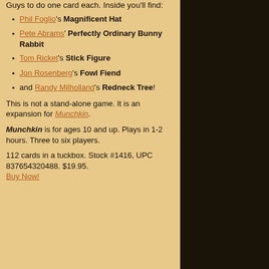Guys to do one card each. Inside you'll find:
Phil Foglio's Magnificent Hat
Pete Abrams' Perfectly Ordinary Bunny Rabbit
Tom Ricket's Stick Figure
Jon Rosenberg's Fowl Fiend
and Randy Milholland's Redneck Tree!
This is not a stand-alone game. It is an expansion for Munchkin.
Munchkin is for ages 10 and up. Plays in 1-2 hours. Three to six players.
112 cards in a tuckbox. Stock #1416, UPC 837654320488. $19.95. Buy Now!